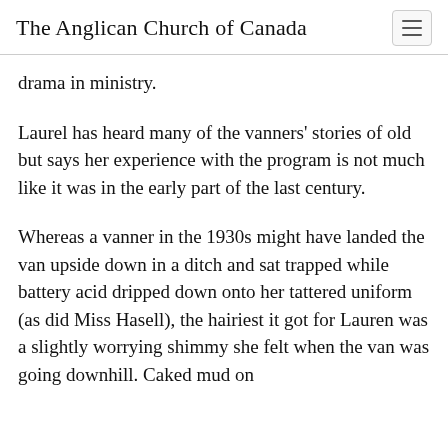The Anglican Church of Canada
drama in ministry.
Laurel has heard many of the vanners' stories of old but says her experience with the program is not much like it was in the early part of the last century.
Whereas a vanner in the 1930s might have landed the van upside down in a ditch and sat trapped while battery acid dripped down onto her tattered uniform (as did Miss Hasell), the hairiest it got for Lauren was a slightly worrying shimmy she felt when the van was going downhill. Caked mud on